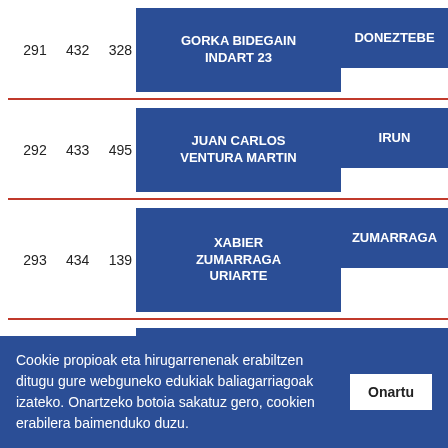| ID1 | ID2 | ID3 | Name | Place |
| --- | --- | --- | --- | --- |
| 291 | 432 | 328 | GORKA BIDEGAIN INDART 23 | DONEZTEBE |
| 292 | 433 | 495 | JUAN CARLOS VENTURA MARTIN | IRUN |
| 293 | 434 | 139 | XABIER ZUMARRAGA URIARTE | ZUMARRAGA |
| 294 | 438 | 520 | DAVID PALACIOS | ERRENTERIA |
Cookie propioak eta hirugarrenenak erabiltzen ditugu gure webguneko edukiak baliagarriagoak izateko. Onartzeko botoia sakatuz gero, cookien erabilera baimenduko duzu.